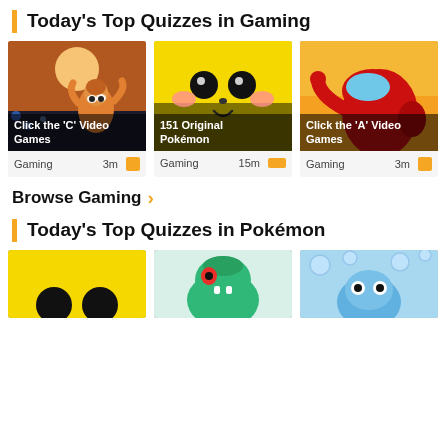Today's Top Quizzes in Gaming
[Figure (screenshot): Card: Click the 'C' Video Games - Gaming, 3m]
[Figure (screenshot): Card: 151 Original Pokémon - Gaming, 15m]
[Figure (screenshot): Card: Click the 'A' Video Games - Gaming, 3m]
Browse Gaming
Today's Top Quizzes in Pokémon
[Figure (screenshot): Card: Pokémon quiz thumbnail (yellow)]
[Figure (screenshot): Card: Pokémon quiz thumbnail (Totodile)]
[Figure (screenshot): Card: Pokémon quiz thumbnail (Squirtle/blue)]